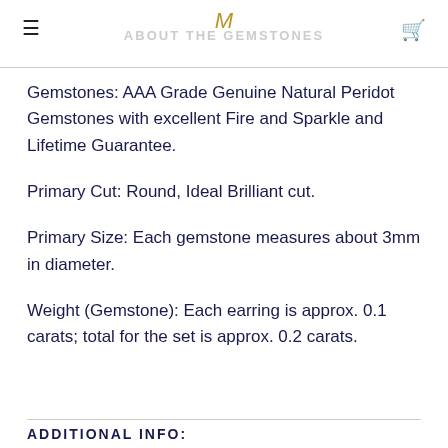ABOUT THE GEMSTONES
Gemstones: AAA Grade Genuine Natural Peridot Gemstones with excellent Fire and Sparkle and Lifetime Guarantee.
Primary Cut: Round, Ideal Brilliant cut.
Primary Size: Each gemstone measures about 3mm in diameter.
Weight (Gemstone): Each earring is approx. 0.1 carats; total for the set is approx. 0.2 carats.
ADDITIONAL INFO: